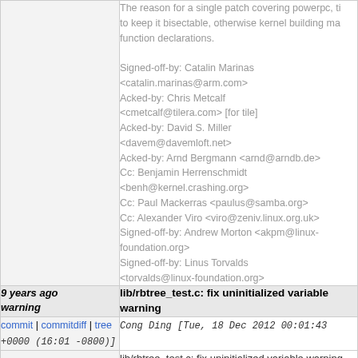The reason for a single patch covering powerpc, ti to keep it bisectable, otherwise kernel building ma function declarations.

Signed-off-by: Catalin Marinas <catalin.marinas@arm.com>
Acked-by: Chris Metcalf <cmetcalf@tilera.com> [for tile]
Acked-by: David S. Miller <davem@davemloft.net>
Acked-by: Arnd Bergmann <arnd@arndb.de>
Cc: Benjamin Herrenschmidt <benh@kernel.crashing.org>
Cc: Paul Mackerras <paulus@samba.org>
Cc: Alexander Viro <viro@zeniv.linux.org.uk>
Signed-off-by: Andrew Morton <akpm@linux-foundation.org>
Signed-off-by: Linus Torvalds <torvalds@linux-foundation.org>
9 years ago warning
lib/rbtree_test.c: fix uninitialized variable warning
commit | commitdiff | tree
+0000 (16:01 -0800)]
Cong Ding [Tue, 18 Dec 2012 00:01:43 +0000 (16:01 -0800)]
lib/rbtree_test.c: fix uninitialized variable warning

Fix this warning: